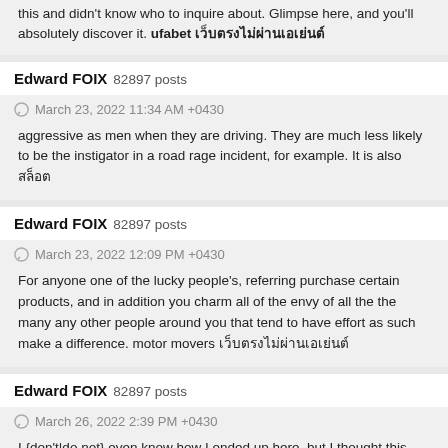this and didn't know who to inquire about. Glimpse here, and you'll absolutely discover it. ufabet เว็บตรงไม่ผ่านเอเย่นต์
Edward FOIX  82897 posts
March 23, 2022 11:34 AM +0430
aggressive as men when they are driving. They are much less likely to be the instigator in a road rage incident, for example. It is also สล็อต
Edward FOIX  82897 posts
March 23, 2022 12:09 PM +0430
For anyone one of the lucky people's, referring purchase certain products, and in addition you charm all of the envy of all the the many any other people around you that tend to have effort as such make a difference. motor movers เว็บตรงไม่ผ่านเอเย่นต์
Edward FOIX  82897 posts
March 26, 2022 2:39 PM +0430
I {don't|do not} even know how I ended up here, but I thought this post was {good|great}. I {don't|do not} know who you are but {definitely|certainly} {you are|you're} going to a famous blogger if you {are not|aren't} already Cheers!… Heya i'm for the first time here. I found this board and I find It really useful & it helped me out much. I hope to give something back and aid others like you helped me. 꽁머니